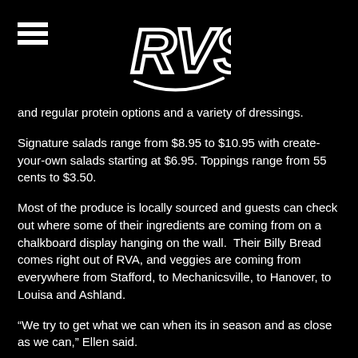[Figure (logo): RVS stylized graffiti-style logo in white outline on black background, with hamburger menu icon in top-left corner]
and regular protein options and a variety of dressings.
Signature salads range from $8.95 to $10.95 with create-your-own salads starting at $6.95. Toppings range from 55 cents to $3.50.
Most of the produce is locally sourced and guests can check out where some of their ingredients are coming from on a chalkboard display hanging on the wall.  Their Billy Bread comes right out of RVA, and veggies are coming from everywhere from Stafford, to Mechanicsville, to Hanover, to Louisa and Ashland.
“We try to get what we can when its in season and as close as we can,” Ellen said.